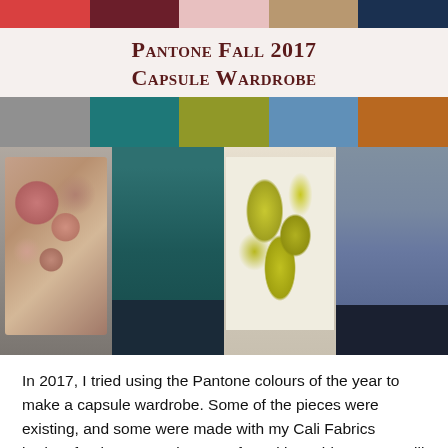[Figure (illustration): Top color swatches row: red/coral, dark burgundy, blush pink, tan/khaki, dark navy blue]
Pantone Fall 2017 Capsule Wardrobe
[Figure (illustration): Second color swatches row: grey, teal, olive/chartreuse, steel blue, burnt orange]
[Figure (photo): Four photos of women wearing fall 2017 capsule wardrobe pieces: (1) floral dusty rose tank with grey cardigan, (2) teal long-sleeve shirt with dark jeans, (3) yellow floral top with dark jeans, (4) grey tank top with dark jeans]
In 2017, I tried using the Pantone colours of the year to make a capsule wardrobe. Some of the pieces were existing, and some were made with my Cali Fabrics budget for the season in return for writing a blog post. I still have the jeans, teal shirt, dusty rose floral tank, and grey cardigan, and everything else was passed on because it